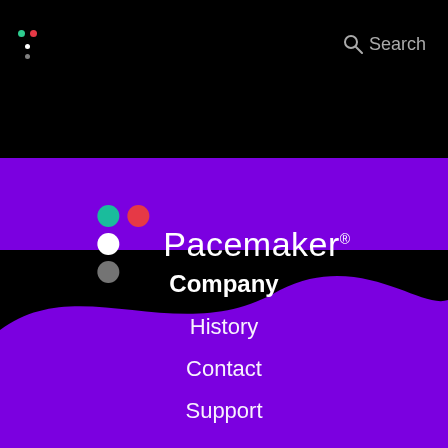Search
[Figure (logo): Pacemaker logo with four colored dots (teal, red, white, light white) arranged in a 2x2 grid pattern on the left, followed by the text 'Pacemaker' with a registered trademark symbol on a black background]
Company
History
Contact
Support